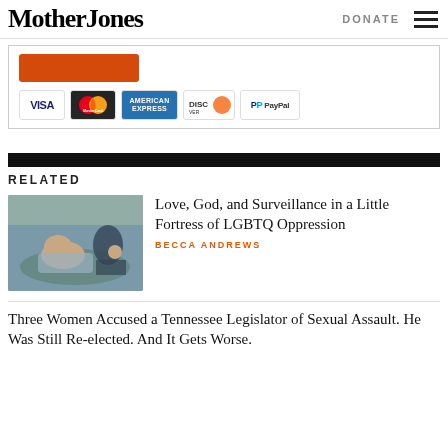Mother Jones | DONATE
[Figure (screenshot): Payment form area showing a red donate button and payment method icons: VISA, MasterCard, American Express, Discover, PayPal]
RELATED
[Figure (photo): A person lying down outdoors with another person's hand near them, in a field or park setting]
Love, God, and Surveillance in a Little Fortress of LGBTQ Oppression
BECCA ANDREWS
Three Women Accused a Tennessee Legislator of Sexual Assault. He Was Still Re-elected. And It Gets Worse.